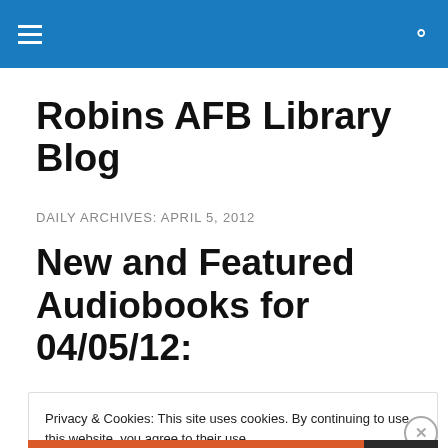Robins AFB Library Blog — navigation bar
Robins AFB Library Blog
DAILY ARCHIVES: APRIL 5, 2012
New and Featured Audiobooks for 04/05/12:
Privacy & Cookies: This site uses cookies. By continuing to use this website, you agree to their use.
To find out more, including how to control cookies, see here: Cookie Policy
Close and accept